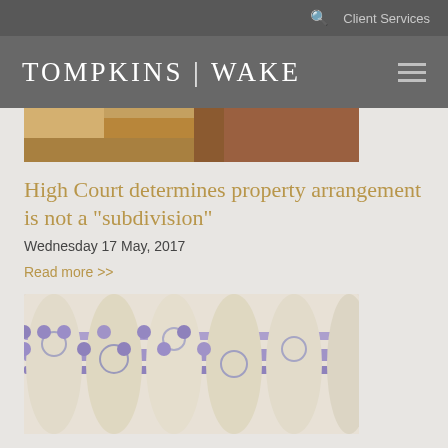Client Services
[Figure (logo): Tompkins Wake law firm logo with hamburger menu icon]
[Figure (photo): Partial photo of wooden surface or desk, top portion visible]
High Court determines property arrangement is not a "subdivision"
Wednesday 17 May, 2017
Read more >>
[Figure (photo): Close-up photo of purple and white decorative items with circular patterns, possibly legal files or binders with clips]